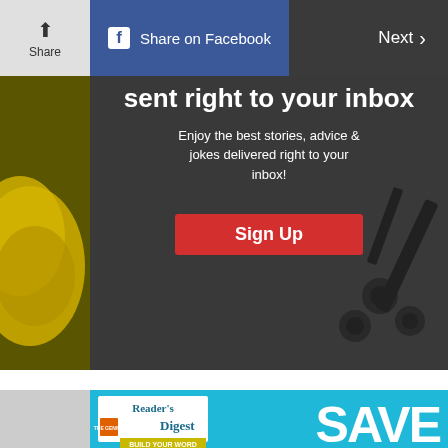Share  |  Share on Facebook  |  Next
sent right to your inbox
Enjoy the best stories, advice & jokes delivered right to your inbox!
Sign Up
[Figure (screenshot): Reader's Digest advertisement banner with teal background showing 'SAVE' in large white text and Reader's Digest magazine logo]
SAVE